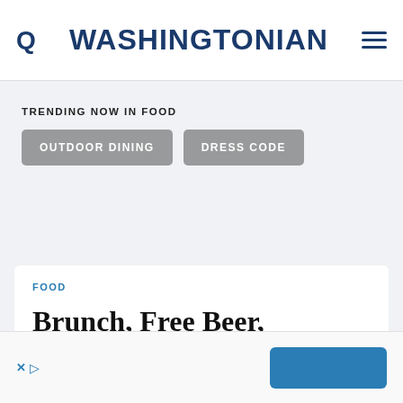WASHINGTONIAN
TRENDING NOW IN FOOD
OUTDOOR DINING
DRESS CODE
FOOD
Brunch, Free Beer, Barbecue, and More Father's Day Specials